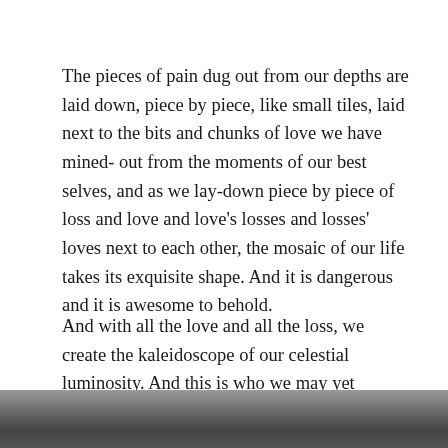The pieces of pain dug out from our depths are laid down, piece by piece, like small tiles, laid next to the bits and chunks of love we have mined- out from the moments of our best selves, and as we lay-down piece by piece of loss and love and love's losses and losses' loves next to each other, the mosaic of our life takes its exquisite shape. And it is dangerous and it is awesome to behold.
And with all the love and all the loss, we create the kaleidoscope of our celestial luminosity. And this is who we may yet become.
[Figure (photo): Partial photograph visible at the bottom of the page, showing a dark rocky or textured surface.]